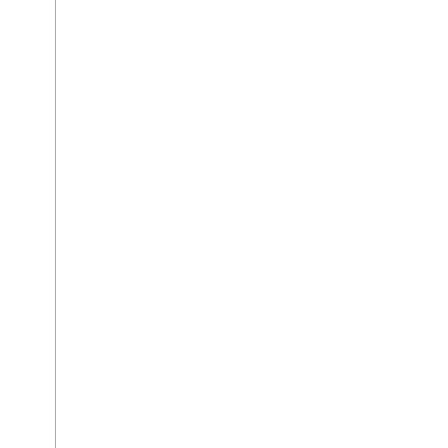"keystroke injection" is s... won't give back "allow" f... Bluetooth keyboard. You'... back then I'll edit this pos... policy can be done by goi... references to IT Policy w... that can be removed. The... by people that own their o... company's IT policy on t... is useful.
You bought a Blac... settings or install T...
You have a Blackb... for whatever reaso...
Important: If you're still... latest and greatest third pa... to your BES administrato... two problems in using thi... whenever you reconnect ... to how they were. Secon... fired.
Procedure: Step 1 Ensur... Blackberry Internet Ser... unsure, it could probabl...